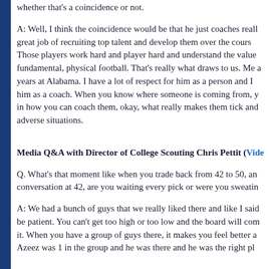whether that's a coincidence or not.
A: Well, I think the coincidence would be that he just coaches really well, great job of recruiting top talent and develop them over the course. Those players work hard and player hard and understand the value of fundamental, physical football. That's really what draws to us. Me a years at Alabama. I have a lot of respect for him as a person and I him as a coach. When you know where someone is coming from, y in how you can coach them, okay, what really makes them tick and adverse situations.
Media Q&A with Director of College Scouting Chris Pettit (Vide
Q. What's that moment like when you trade back from 42 to 50, an conversation at 42, are you waiting every pick or were you sweatin
A: We had a bunch of guys that we really liked there and like I said be patient. You can't get too high or too low and the board will com it. When you have a group of guys there, it makes you feel better a Azeez was 1 in the group and he was there and he was the right pl